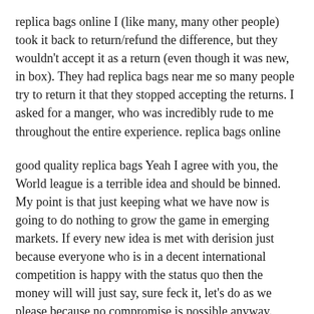replica bags online I (like many, many other people) took it back to return/refund the difference, but they wouldn't accept it as a return (even though it was new, in box). They had replica bags near me so many people try to return it that they stopped accepting the returns. I asked for a manger, who was incredibly rude to me throughout the entire experience. replica bags online
good quality replica bags Yeah I agree with you, the World league is a terrible idea and should be binned. My point is that just keeping what we have now is going to do nothing to grow the game in emerging markets. If every new idea is met with derision just because everyone who is in a decent international competition is happy with the status quo then the money will will just say, sure feck it, let's do as we please because no compromise is possible anyway. good quality replica bags
luxury replica bags Well, the guy being threatened was a trump